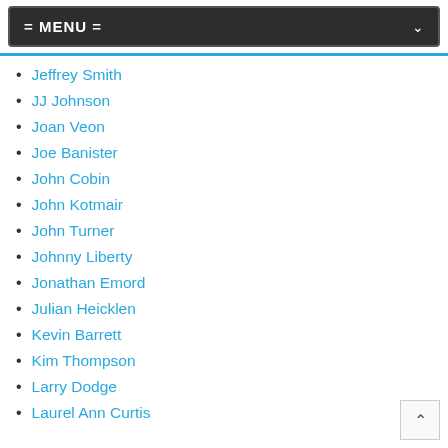= MENU =
Jeffrey Smith
JJ Johnson
Joan Veon
Joe Banister
John Cobin
John Kotmair
John Turner
Johnny Liberty
Jonathan Emord
Julian Heicklen
Kevin Barrett
Kim Thompson
Larry Dodge
Laurel Ann Curtis